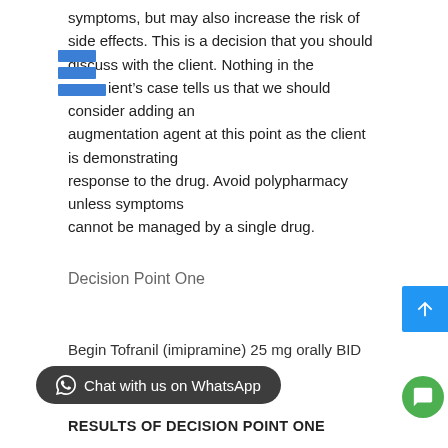symptoms, but may also increase the risk of side effects. This is a decision that you should discuss with the client. Nothing in the client’s case tells us that we should consider adding an augmentation agent at this point as the client is demonstrating response to the drug. Avoid polypharmacy unless symptoms cannot be managed by a single drug.
Decision Point One
Begin Tofranil (imipramine) 25 mg orally BID
RESULTS OF DECISION POINT ONE